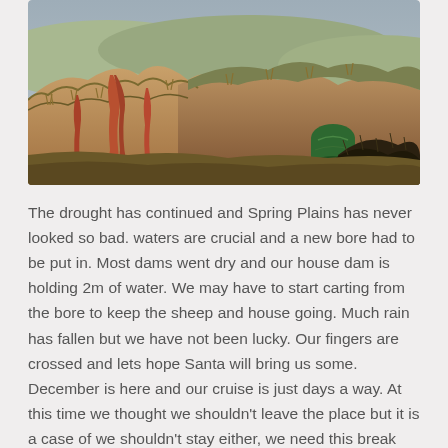[Figure (photo): Outdoor landscape photo showing a dry, drought-affected hillside with brown grasses and eroded orange-brown soil. A green circular object (possibly a water tank or barrel) and some dark dry shrubs are visible on the right side of the image. The sky is overcast and grey.]
The drought has continued and Spring Plains has never looked so bad. waters are crucial and a new bore had to be put in. Most dams went dry and our house dam is holding 2m of water. We may have to start carting from the bore to keep the sheep and house going. Much rain has fallen but we have not been lucky. Our fingers are crossed and lets hope Santa will bring us some. December is here and our cruise is just days a way. At this time we thought we shouldn't leave the place but it is a case of we shouldn't stay either, we need this break and we need to forget the worries for a short time. Becky is on her way to care take and she will get the place jazzed up for Christmas, Although showers